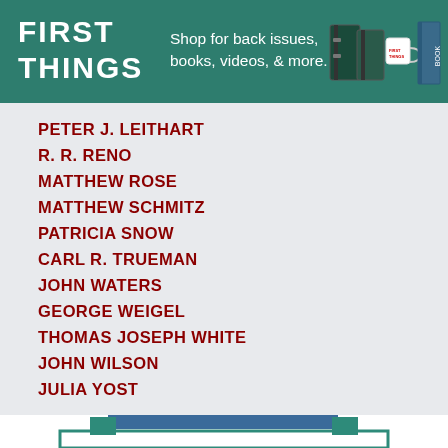[Figure (illustration): First Things banner advertisement: teal/green background with 'FIRST THINGS' logo on the left, 'Shop for back issues, books, videos, & more.' text in center, and icons of binders, mug, and book on the right]
PETER J. LEITHART
R. R. RENO
MATTHEW ROSE
MATTHEW SCHMITZ
PATRICIA SNOW
CARL R. TRUEMAN
JOHN WATERS
GEORGE WEIGEL
THOMAS JOSEPH WHITE
JOHN WILSON
JULIA YOST
[Figure (illustration): Partial view of a teal/blue bordered box or advertisement at the bottom of the page]